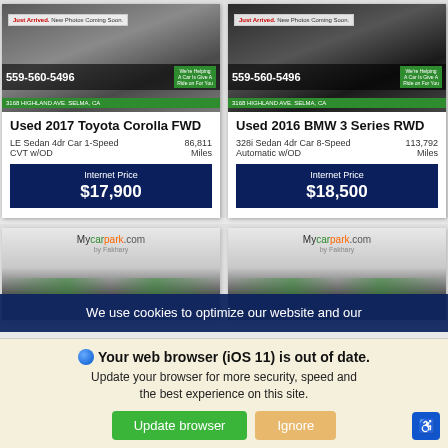[Figure (photo): Used 2017 Toyota Corolla FWD car listing with photo, phone number 559-560-5496, address 3168 Highland Ave Selma CA]
Used 2017 Toyota Corolla FWD
LE Sedan 4dr Car 1-Speed CVT w/OD
86,811 Miles
Internet Price $17,900
[Figure (photo): Used 2016 BMW 3 Series RWD car listing with photo, phone number 559-560-5496, address 3168 Highland Ave Selma CA]
Used 2016 BMW 3 Series RWD
328i Sedan 4dr Car 8-Speed Automatic w/OD
113,792 Miles
Internet Price $18,500
[Figure (photo): Mycarpark.com by Fakhary car listing partial image]
[Figure (photo): Mycarpark.com by Fakhary car listing partial image]
We use cookies to optimize our website and our
Your web browser (iOS 11) is out of date. Update your browser for more security, speed and the best experience on this site.